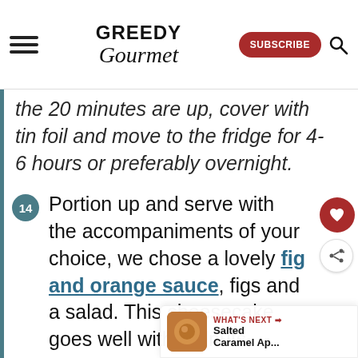Greedy Gourmet — SUBSCRIBE
the 20 minutes are up, cover with tin foil and move to the fridge for 4-6 hours or preferably overnight.
14 Portion up and serve with the accompaniments of your choice, we chose a lovely fig and orange sauce, figs and a salad. This cheesecake goes well with walnuts, grapes, oranges or figs. Take your time and enjoy!